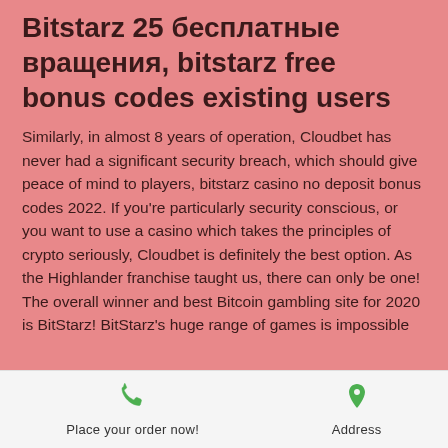Bitstarz 25 бесплатные вращения, bitstarz free bonus codes existing users
Similarly, in almost 8 years of operation, Cloudbet has never had a significant security breach, which should give peace of mind to players, bitstarz casino no deposit bonus codes 2022. If you're particularly security conscious, or you want to use a casino which takes the principles of crypto seriously, Cloudbet is definitely the best option. As the Highlander franchise taught us, there can only be one! The overall winner and best Bitcoin gambling site for 2020 is BitStarz! BitStarz's huge range of games is impossible
Place your order now!  Address